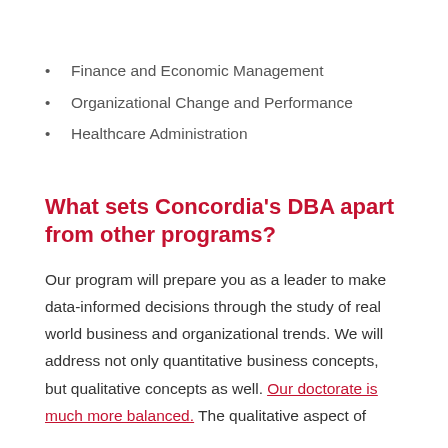Finance and Economic Management
Organizational Change and Performance
Healthcare Administration
What sets Concordia's DBA apart from other programs?
Our program will prepare you as a leader to make data-informed decisions through the study of real world business and organizational trends. We will address not only quantitative business concepts, but qualitative concepts as well. Our doctorate is much more balanced. The qualitative aspect of